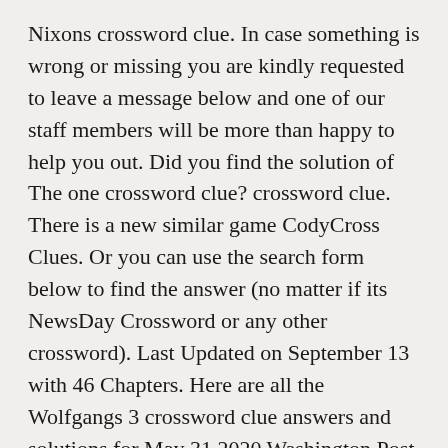Nixons crossword clue. In case something is wrong or missing you are kindly requested to leave a message below and one of our staff members will be more than happy to help you out. Did you find the solution of The one crossword clue? crossword clue. There is a new similar game CodyCross Clues. Or you can use the search form below to find the answer (no matter if its NewsDay Crossword or any other crossword). Last Updated on September 13 with 46 Chapters. Here are all the Wolfgangs 3 crossword clue answers and solutions for May 31 2020 Washington Post Merl Regal Crossword. This crossword clue was last seen on USA Today Crossword September 28 ... Close. There are related clues (shown below). Related #The one crossword clue. The Crossword Solver finds answers to American-style crosswords, British-style crosswords, general knowledge crosswords and cryptic crossword puzzles. B OTH R (B ROTHER) Home; January 08 2021; Lucy for one; Lucy for one crossword clue. This clue was last seen on New York Times Crossword December 6 2020 Answers In case the clue ... Lucy for one ... If you encounter two or more